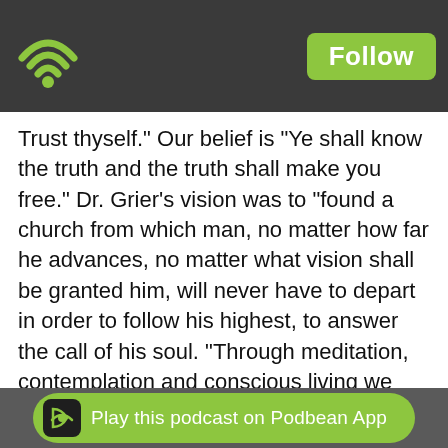[Figure (logo): Dark header bar with green Podbean wifi/podcast logo on the left and a green Follow button on the right]
Trust thyself." Our belief is "Ye shall know the truth and the truth shall make you free." Dr. Grier's vision was to "found a church from which man, no matter how far he advances, no matter what vision shall be granted him, will never have to depart in order to follow his highest, to answer the call of his soul. "Through meditation, contemplation and conscious living we open ourselves to the direct and personal experience of God. Statement of Being "I am Spirit, I think, see, feel and live as Spirit in the presence of God, and through the power of God in me am able to manifest the perfection of Spirit in mind and body."
[Figure (logo): Gray footer bar with green rounded Play this podcast on Podbean App button containing the Podbean icon]